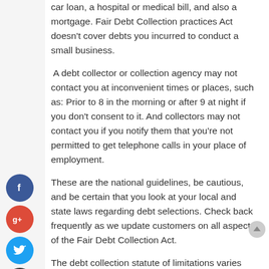car loan, a hospital or medical bill, and also a mortgage. Fair Debt Collection practices Act doesn't cover debts you incurred to conduct a small business.
A debt collector or collection agency may not contact you at inconvenient times or places, such as: Prior to 8 in the morning or after 9 at night if you don't consent to it. And collectors may not contact you if you notify them that you're not permitted to get telephone calls in your place of employment.
These are the national guidelines, be cautious, and be certain that you look at your local and state laws regarding debt selections. Check back frequently as we update customers on all aspects of the Fair Debt Collection Act.
The debt collection statute of limitations varies substantially. It could vary anywhere between 3-15 years...